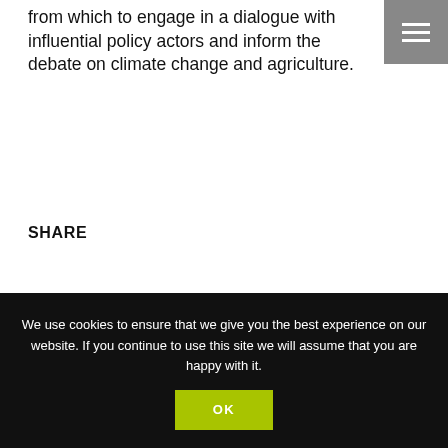from which to engage in a dialogue with influential policy actors and inform the debate on climate change and agriculture.
SHARE
We use cookies to ensure that we give you the best experience on our website. If you continue to use this site we will assume that you are happy with it.